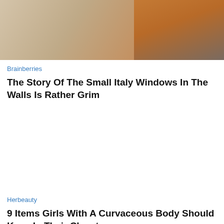[Figure (photo): Partial photo of a person in orange/brown clothing against a stone wall background, cropped at top]
Brainberries
The Story Of The Small Italy Windows In The Walls Is Rather Grim
Herbeauty
9 Items Girls With A Curvaceous Body Should Keep In Their Closet
[Figure (photo): Partial photo at bottom of page, person with dark hair in orange/brown tones, cropped]